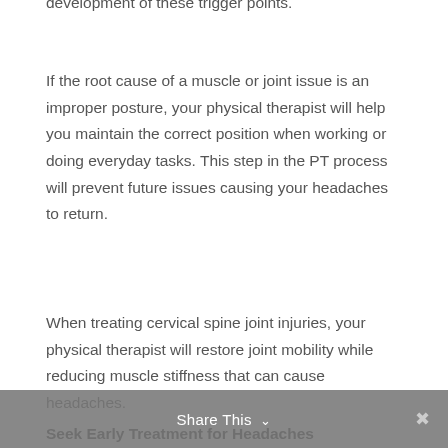development of these trigger points.
If the root cause of a muscle or joint issue is an improper posture, your physical therapist will help you maintain the correct position when working or doing everyday tasks. This step in the PT process will prevent future issues causing your headaches to return.
When treating cervical spine joint injuries, your physical therapist will restore joint mobility while reducing muscle stiffness that can cause headaches.
Seek Early Treatment for Headaches
Migraines and headaches can affect all